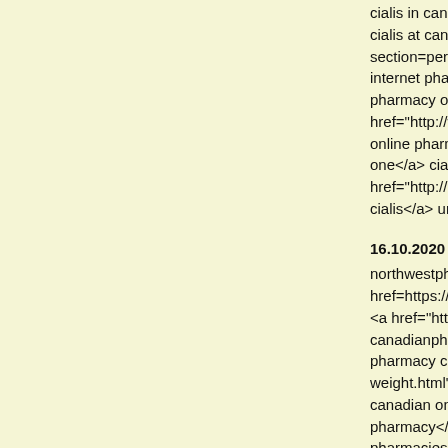cialis in canadian pharmacies <a href=https://kr... cialis at canadian pharmacies <a href="https://v... section=personality&id=152032">canadian pha... internet pharmacy <a href=https://www.atlasobs... pharmacy online viagra</a> canada pharmacy href="http://www.farmoreawesome.com/forums... online pharmacy without a prescription <a href= one</a> cialis canada pharmacy <a href="http://avhosting.us/nowshoplocal/member... cialis</a> universal pharmacy
16.10.2020 - cvs pharmacy hlvi (https://sundaynew... northwestpharmacy.com <a href=https://classifiedscachevalley.com/author/c... <a href="https://gto5767.com/home.php?mod=s... canadianpharmacymeds.com <a href=https://ga... pharmacy cialis <a href="https://clarkelyhne1.o... weight.html">online pharmacy canada</a> canadian online pharmacy viagra <a href=https... pharmacy</a> canadadrugpharmacy.com <a hr... pharmacies</a> cialis pharmacy
16.10.2020 - canadian pharmacies viagra jcjt (http:... cialis pharmacy rx one <a href=http://www.cvm... pharmacy for viagra</a> canadian pharmacy ci... page=user&action=pub_profile&id=83465">viad...